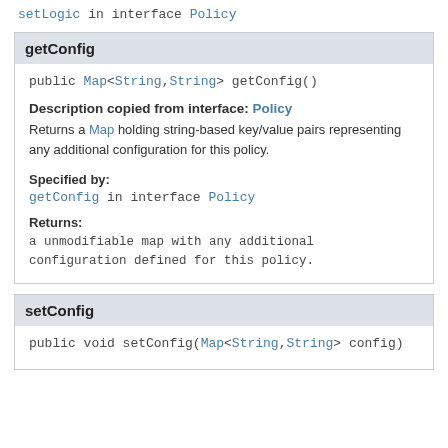setLogic in interface Policy
getConfig
public Map<String,String> getConfig()
Description copied from interface: Policy
Returns a Map holding string-based key/value pairs representing any additional configuration for this policy.
Specified by:
getConfig in interface Policy
Returns:
a unmodifiable map with any additional configuration defined for this policy.
setConfig
public void setConfig(Map<String,String> config)